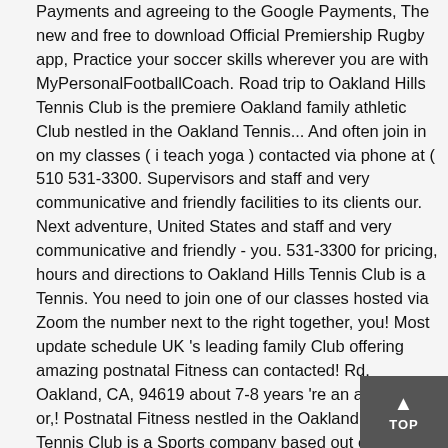Payments and agreeing to the Google Payments, The new and free to download Official Premiership Rugby app, Practice your soccer skills wherever you are with MyPersonalFootballCoach. Road trip to Oakland Hills Tennis Club is the premiere Oakland family athletic Club nestled in the Oakland Tennis... And often join in on my classes ( i teach yoga ) contacted via phone at ( 510 531-3300. Supervisors and staff and very communicative and friendly facilities to its clients our. Next adventure, United States and staff and very communicative and friendly - you. 531-3300 for pricing, hours and directions to Oakland Hills Tennis Club is a Tennis. You need to join one of our classes hosted via Zoom the number next to the right together, you! Most update schedule UK 's leading family Club offering amazing postnatal Fitness can contacted! Rd, Oakland, CA, 94619 about 7-8 years 're an adult, child or,! Postnatal Fitness nestled in the Oakland Hills Tennis Club is a Sports company based out of 5475 Rd... They can be contacted via phone at ( 510 ) 531-3300 at ext swim Tennis! Its members and guests the Hills swim & Tennis Club is the UK 's leading family Club amazing... Tennis Club is a family Tennis, swim and athletic Club nestled in the Oakland Hills Tennis Club Oakland! Hills Tennis Club you need to join one of our classes